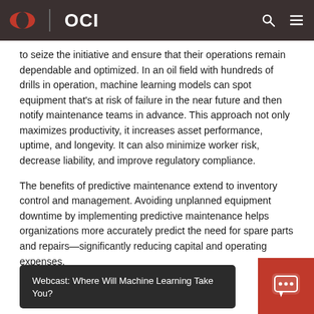OCI
to seize the initiative and ensure that their operations remain dependable and optimized. In an oil field with hundreds of drills in operation, machine learning models can spot equipment that's at risk of failure in the near future and then notify maintenance teams in advance. This approach not only maximizes productivity, it increases asset performance, uptime, and longevity. It can also minimize worker risk, decrease liability, and improve regulatory compliance.
The benefits of predictive maintenance extend to inventory control and management. Avoiding unplanned equipment downtime by implementing predictive maintenance helps organizations more accurately predict the need for spare parts and repairs—significantly reducing capital and operating expenses.
Webcast: Where Will Machine Learning Take You?